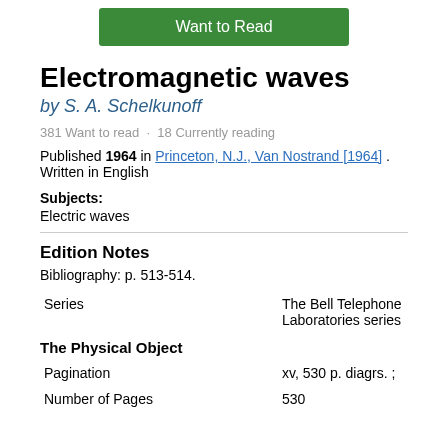[Figure (other): Green 'Want to Read' button]
Electromagnetic waves
by S. A. Schelkunoff
381 Want to read · 18 Currently reading
Published 1964 in Princeton, N.J., Van Nostrand [1964] . Written in English
Subjects: Electric waves
Edition Notes
Bibliography: p. 513-514.
| Series | The Bell Telephone Laboratories series |
The Physical Object
| Pagination | xv, 530 p. diagrs. ; |
| Number of Pages | 530 |